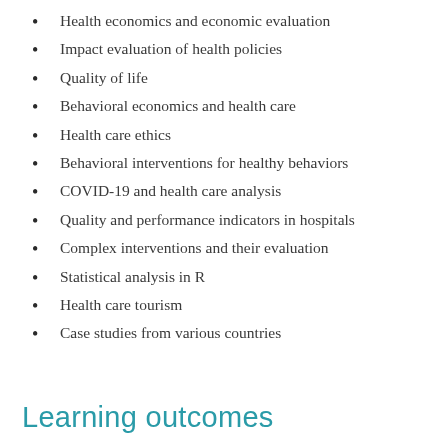Health economics and economic evaluation
Impact evaluation of health policies
Quality of life
Behavioral economics and health care
Health care ethics
Behavioral interventions for healthy behaviors
COVID-19 and health care analysis
Quality and performance indicators in hospitals
Complex interventions and their evaluation
Statistical analysis in R
Health care tourism
Case studies from various countries
Learning outcomes